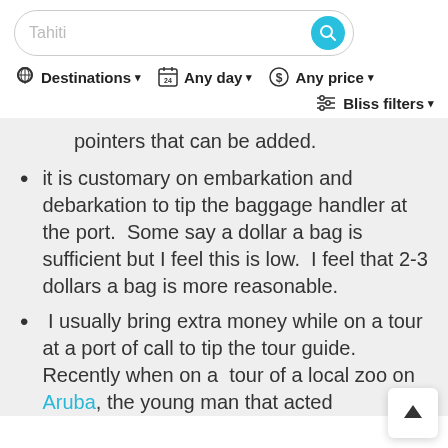[Figure (screenshot): Search bar with text 'Tahiti' and a teal search button icon]
Destinations ▾   Any day ▾   Any price ▾   Bliss filters ▾
pointers that can be added.
it is customary on embarkation and debarkation to tip the baggage handler at the port.  Some say a dollar a bag is sufficient but I feel this is low.  I feel that 2-3 dollars a bag is more reasonable.
I usually bring extra money while on a tour at a port of call to tip the tour guide.  Recently when on a  tour of a local zoo on Aruba, the young man that acted